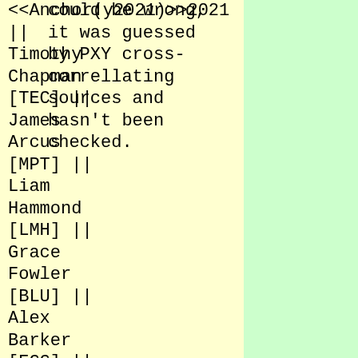could be wrong, it was guessed by PXY cross-correllating sources and hasn't been checked.
<<Anchor(y2021)>>2021 || Timothy Chapman [TEC] || James Arcus [MPT] || Liam Hammond [LMH] || Grace Fowler [BLU] || Alex Barker [EGG] || Nicholas Clements [HET], Alistair Parkinson [APA], Benjamin Wright [OKC] || || <<Anchor(y2020)>>2020 || James Arcus [MPT] || Timothy E. Chapman [TEC] || Grace Rosario [MLG] || Alexie Wallace [PQZ] || Cormac Sharkey || Matt Winslate [MVP], Charlie Owens [AAA], Nicholas Clements || || <<Anchor(y2019)>>2019 || Felix von Perger [FVP] || James Arcus [MPT] || Timothy Chapman [TEC] ||